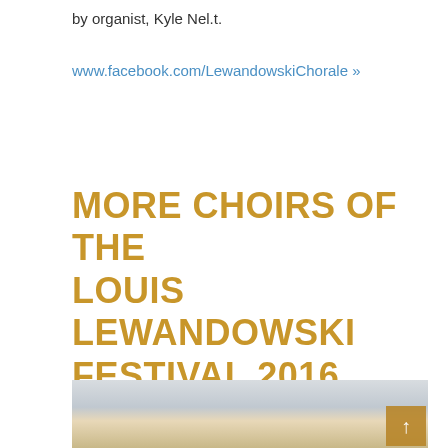by organist, Kyle Nel.t.
www.facebook.com/LewandowskiChorale »
MORE CHOIRS OF THE LOUIS LEWANDOWSKI FESTIVAL 2016
[Figure (photo): Photo of choir performers in a hall or synagogue during the Louis Lewandowski Festival 2016, showing young singers and audience members in a large room with wooden paneling.]